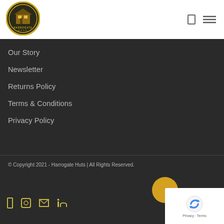[Figure (logo): Harrogate Huts circular logo with building icon and golden ring]
Our Story
Newsletter
Returns Policy
Terms & Conditions
Privacy Policy
© Copyright 2021 - Harrogate Huts | All Rights Reserved.